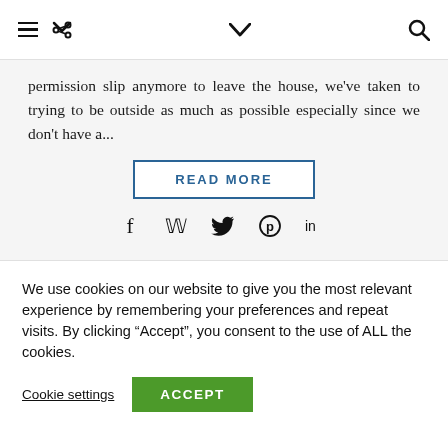≡ < ∨ 🔍
permission slip anymore to leave the house, we've taken to trying to be outside as much as possible especially since we don't have a...
READ MORE
[Figure (other): Social media share icons: Facebook, Twitter, Pinterest, LinkedIn]
We use cookies on our website to give you the most relevant experience by remembering your preferences and repeat visits. By clicking "Accept", you consent to the use of ALL the cookies.
Cookie settings   ACCEPT